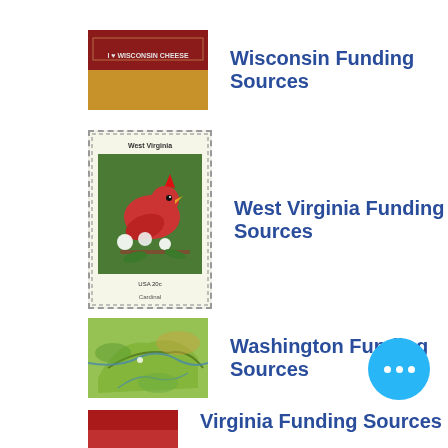Wisconsin Funding Sources
[Figure (photo): Wisconsin cheese related image with red background and text]
West Virginia Funding Sources
[Figure (photo): West Virginia USA 20c postage stamp showing a cardinal bird on flowering branch]
Washington Funding Sources
[Figure (map): Washington state map in green and yellow tones]
Virginia Funding Sources